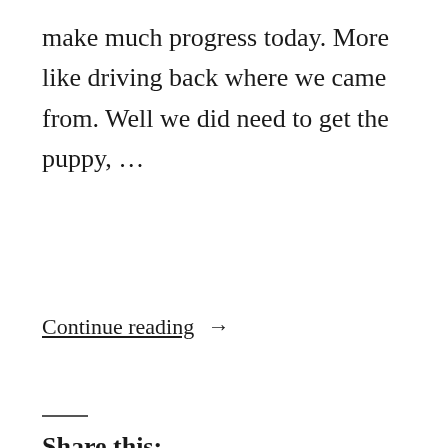make much progress today. More like driving back where we came from. Well we did need to get the puppy, …
Continue reading →
Share this:
[Figure (other): Twitter and Facebook share buttons]
READ MORE →